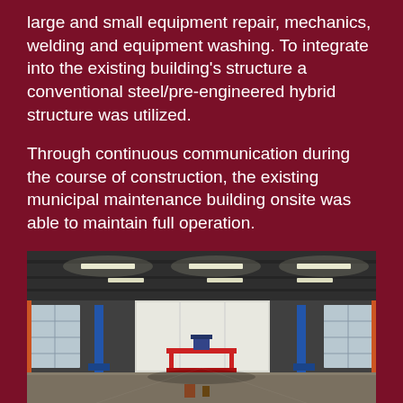large and small equipment repair, mechanics, welding and equipment washing. To integrate into the existing building's structure a conventional steel/pre-engineered hybrid structure was utilized.
Through continuous communication during the course of construction, the existing municipal maintenance building onsite was able to maintain full operation.
[Figure (photo): Interior view of a large municipal maintenance garage/workshop with high ceilings, overhead fluorescent lighting, vehicle lift equipment (blue and red lift posts), and white wall panels at the far end. The floor appears to be polished concrete. Large windows are visible on both sides.]